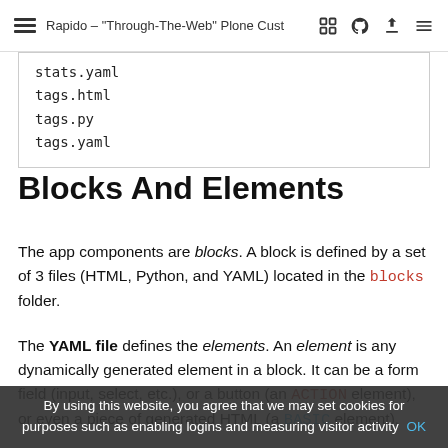Rapido – "Through-The-Web" Plone Cust
stats.yaml
tags.html
tags.py
tags.yaml
Blocks And Elements
The app components are blocks. A block is defined by a set of 3 files (HTML, Python, and YAML) located in the blocks folder.
The YAML file defines the elements. An element is any dynamically generated element in a block. It can be a form field (input, select, etc.), or a button (an ACTION element), or even a piece of generated HTML (a BASIC element).
The HTML file contains the layout of the block. The
By using this website, you agree that we may set cookies for purposes such as enabling logins and measuring visitor activity OK